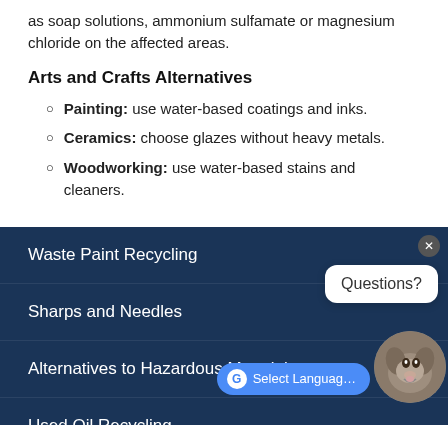as soap solutions, ammonium sulfamate or magnesium chloride on the affected areas.
Arts and Crafts Alternatives
Painting: use water-based coatings and inks.
Ceramics: choose glazes without heavy metals.
Woodworking: use water-based stains and cleaners.
Waste Paint Recycling
Sharps and Needles
Alternatives to Hazardous Materials
Used Oil Recycling